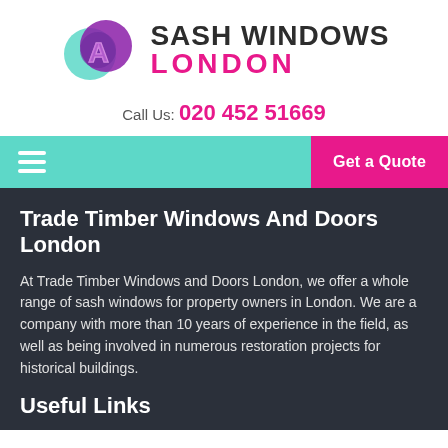[Figure (logo): Sash Windows London logo with overlapping teal and purple circles containing a stylized 'A' lettermark, alongside text 'SASH WINDOWS LONDON']
Call Us: 020 452 51669
Get a Quote
Trade Timber Windows And Doors London
At Trade Timber Windows and Doors London, we offer a whole range of sash windows for property owners in London. We are a company with more than 10 years of experience in the field, as well as being involved in numerous restoration projects for historical buildings.
Useful Links